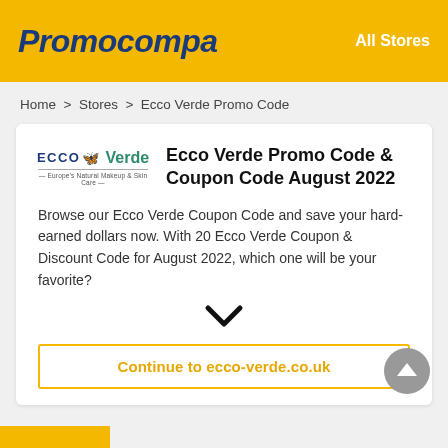Promocompa    All Stores
Home > Stores > Ecco Verde Promo Code
Ecco Verde Promo Code & Coupon Code August 2022
Browse our Ecco Verde Coupon Code and save your hard-earned dollars now. With 20 Ecco Verde Coupon & Discount Code for August 2022, which one will be your favorite?
Continue to ecco-verde.co.uk